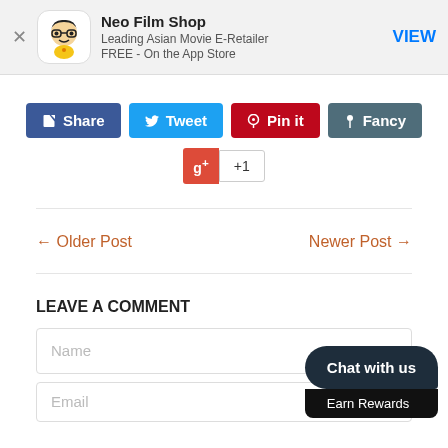[Figure (screenshot): App banner for Neo Film Shop showing app icon, title, subtitle 'Leading Asian Movie E-Retailer', 'FREE - On the App Store', and a VIEW button]
Share   Tweet   Pin it   Fancy
+1
← Older Post
Newer Post →
LEAVE A COMMENT
Name
Email
Chat with us
Earn Rewards